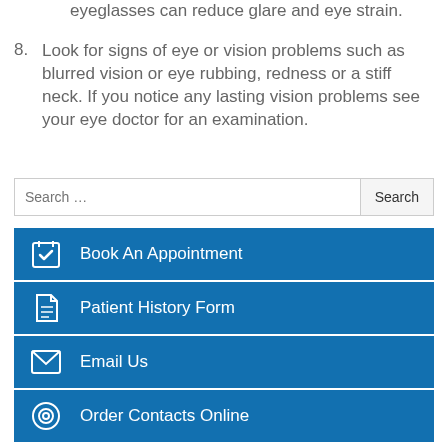7. Anti-glare: Anti-glare screens or coatings on eyeglasses can reduce glare and eye strain.
8. Look for signs of eye or vision problems such as blurred vision or eye rubbing, redness or a stiff neck. If you notice any lasting vision problems see your eye doctor for an examination.
Search …
Book An Appointment
Patient History Form
Email Us
Order Contacts Online